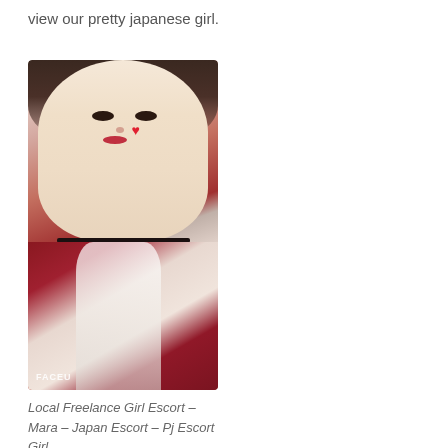view our pretty japanese girl.
[Figure (photo): Portrait photo of a young Asian woman with heavy makeup, wearing a dark red halter dress with lace detail and a black choker necklace. A red heart sticker is visible on her cheek. Watermark reads 'FACEU' in the lower left corner.]
Local Freelance Girl Escort – Mara – Japan Escort – Pj Escort Girl